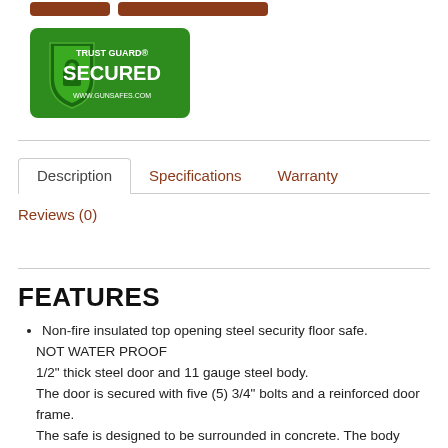[Figure (logo): Trust Guard Secured badge - green shield with padlock icon, text reads TRUST GUARD SECURED WWW.GUNSAFES.COM]
Description | Specifications | Warranty | Reviews (0)
FEATURES
Non-fire insulated top opening steel security floor safe. NOT WATER PROOF
1/2" thick steel door and 11 gauge steel body.
The door is secured with five (5) 3/4" bolts and a reinforced door frame.
The safe is designed to be surrounded in concrete. The body